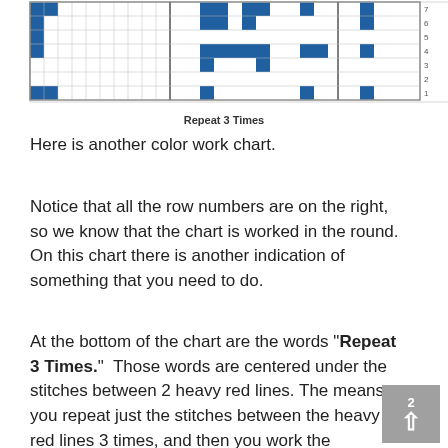[Figure (other): A knitting/crochet color work chart grid showing a pattern with blue filled squares and white empty squares arranged in a grid pattern. The chart shows a repeating pattern section.]
Repeat 3 Times
Here is another color work chart.
Notice that all the row numbers are on the right, so we know that the chart is worked in the round. On this chart there is another indication of something that you need to do.
At the bottom of the chart are the words "Repeat 3 Times."  Those words are centered under the stitches between 2 heavy red lines. The means you repeat just the stitches between the heavy red lines 3 times, and then you work the remainder of the stitches.